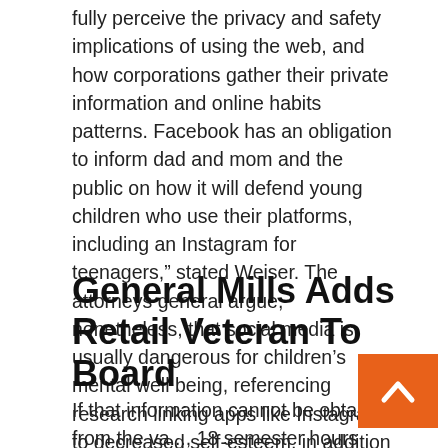fully perceive the privacy and safety implications of using the web, and how corporations gather their private information and online habits patterns. Facebook has an obligation to inform dad and mom and the public on how it will defend young children who use their platforms, including an Instagram for teenagers," stated Weiser. The attorneys general argue, nonetheless, that social media is usually dangerous for children's mental well being, referencing research linking apps like Instagram to decreased self-esteem, in addition to self-injurious conduct.
General Mills Adds Retail Veteran To Board
If that information cannot be obtained from the va..., 18 semester hours must be considered as satisfying